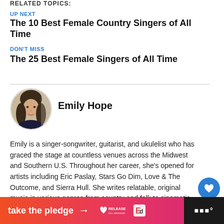RELATED TOPICS:
UP NEXT
The 10 Best Female Country Singers of All Time
DON'T MISS
The 25 Best Female Singers of All Time
Emily Hope
Emily is a singer-songwriter, guitarist, and ukulelist who has graced the stage at countless venues across the Midwest and Southern U.S. Throughout her career, she's opened for artists including Eric Paslay, Stars Go Dim, Love & The Outcome, and Sierra Hull. She writes relatable, original music in various genres from country and folk to cinematic pop, hoping to inspire and uplift her listeners. Outside of music, Emily enjoys hiking with her husband and playing with her comical cat, Olive.
take the pledge →